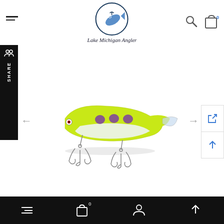Lake Michigan Angler - navigation header with hamburger menu, logo, search and cart icons
[Figure (screenshot): Lake Michigan Angler website screenshot showing a fishing lure product page. The lure is chartreuse/yellow with purple spots and two treble hooks, displayed on white background with left/right navigation arrows. Side share bar and right-side floating buttons visible.]
Bottom navigation bar with hamburger menu, cart (0), account, and scroll-up icons